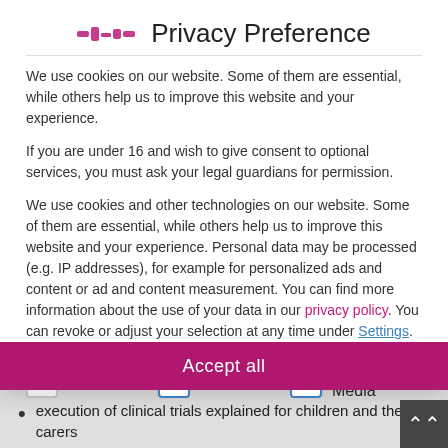Privacy Preference
We use cookies on our website. Some of them are essential, while others help us to improve this website and your experience.
If you are under 16 and wish to give consent to optional services, you must ask your legal guardians for permission.
We use cookies and other technologies on our website. Some of them are essential, while others help us to improve this website and your experience. Personal data may be processed (e.g. IP addresses), for example for personalized ads and content or ad and content measurement. You can find more information about the use of your data in our privacy policy. You can revoke or adjust your selection at any time under Settings.
Essential
Statistics
External Media
execution of clinical trials explained for children and their carers
parents' rights and ethics e.g. explaining what an informed consent is and benefits of clinical trials for children